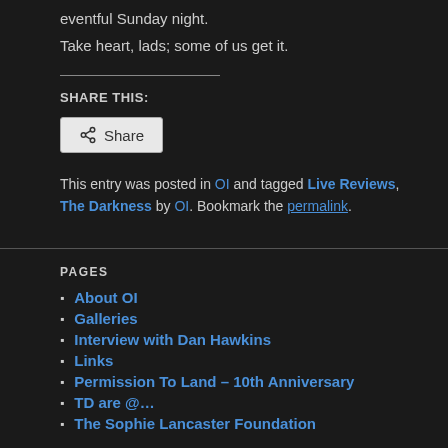eventful Sunday night.
Take heart, lads; some of us get it.
SHARE THIS:
This entry was posted in OI and tagged Live Reviews, The Darkness by OI. Bookmark the permalink.
PAGES
About OI
Galleries
Interview with Dan Hawkins
Links
Permission To Land – 10th Anniversary
TD are @…
The Sophie Lancaster Foundation